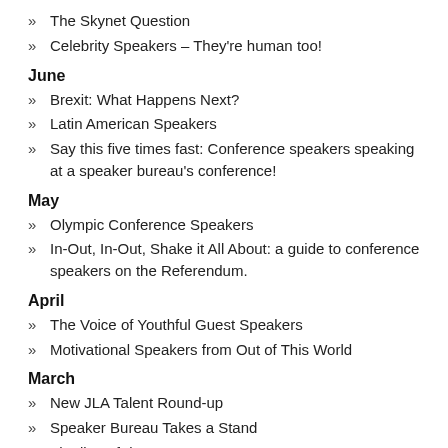The Skynet Question
Celebrity Speakers – They're human too!
June
Brexit: What Happens Next?
Latin American Speakers
Say this five times fast: Conference speakers speaking at a speaker bureau's conference!
May
Olympic Conference Speakers
In-Out, In-Out, Shake it All About: a guide to conference speakers on the Referendum.
April
The Voice of Youthful Guest Speakers
Motivational Speakers from Out of This World
March
New JLA Talent Round-up
Speaker Bureau Takes a Stand
The line of duty…